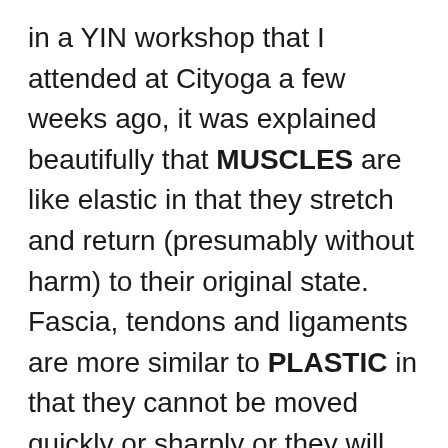in a YIN workshop that I attended at Cityoga a few weeks ago, it was explained beautifully that MUSCLES are like elastic in that they stretch and return (presumably without harm) to their original state. Fascia, tendons and ligaments are more similar to PLASTIC in that they cannot be moved quickly or sharply or they will break or snap. However, if you take a plastic spoon, for instance, and SLOWLY bend the plastic, it will eventually move and mold to where